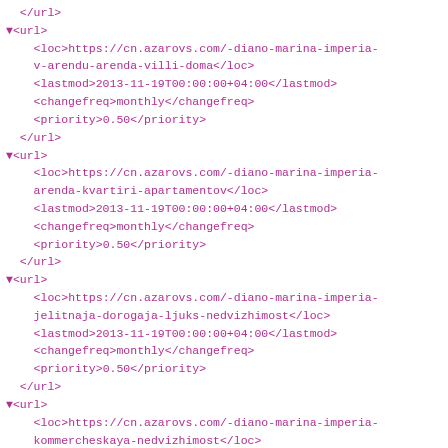XML sitemap code snippet showing url entries with loc, lastmod, changefreq, and priority tags for cn.azarovs.com URLs
</url>
▼<url>
    <loc>https://cn.azarovs.com/-diano-marina-imperia-v-arendu-arenda-villi-doma</loc>
    <lastmod>2013-11-19T00:00:00+04:00</lastmod>
    <changefreq>monthly</changefreq>
    <priority>0.50</priority>
  </url>
▼<url>
    <loc>https://cn.azarovs.com/-diano-marina-imperia-arenda-kvartiri-apartamentov</loc>
    <lastmod>2013-11-19T00:00:00+04:00</lastmod>
    <changefreq>monthly</changefreq>
    <priority>0.50</priority>
  </url>
▼<url>
    <loc>https://cn.azarovs.com/-diano-marina-imperia-jelitnaja-dorogaja-ljuks-nedvizhimost</loc>
    <lastmod>2013-11-19T00:00:00+04:00</lastmod>
    <changefreq>monthly</changefreq>
    <priority>0.50</priority>
  </url>
▼<url>
    <loc>https://cn.azarovs.com/-diano-marina-imperia-kommercheskaya-nedvizhimost</loc>
    <lastmod>2013-11-19T00:00:00+04:00</lastmod>
    <changefreq>monthly</changefreq>
    <priority>0.50</priority>
  </url>
▼<url>